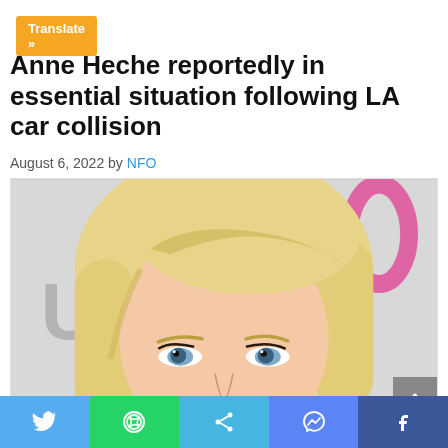Translate »
Anne Heche reportedly in essential situation following LA car collision
August 6, 2022 by NFO
[Figure (photo): Close-up photo of Anne Heche, a blonde woman with blue eyes, in front of a banner background reading 'UND...']
Social share bar: Twitter, WhatsApp, Share, Messenger, Facebook